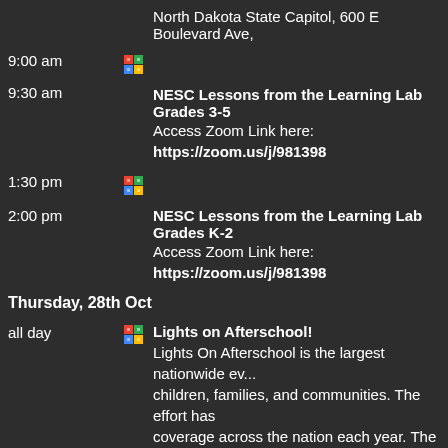North Dakota State Capitol, 600 E Boulevard Ave,
9:00 am [map icon]
9:30 am  NESC Lessons from the Learning Lab Grades 3-5
Access Zoom Link here: https://zoom.us/j/981398
1:30 pm [map icon]
2:00 pm  NESC Lessons from the Learning Lab Grades K-2
Access Zoom Link here: https://zoom.us/j/981398
Thursday, 28th Oct
all day [map icon]
Lights on Afterschool!
Lights On Afterschool is the largest nationwide ev... children, families, and communities. The effort has coverage across the nation each year. The events c... and families and send a powerful message that mo...
Learn more here: https://ndafterschoolnetwork.
Monday, 1st Nov
9:00 am [map icon]